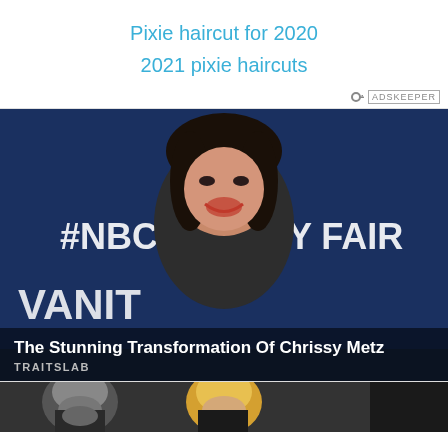Pixie haircut for 2020
2021 pixie haircuts
[Figure (logo): Adskeeper logo/branding bar]
[Figure (photo): Photo of Chrissy Metz at a Vanity Fair and NBC event (#NBCxVF), smiling, wearing black, with dark curly hair, in front of a blue step-and-repeat backdrop]
The Stunning Transformation Of Chrissy Metz
TRAITSLAB
[Figure (photo): Partial bottom strip showing two people, one with gray beard and one with blonde hair]